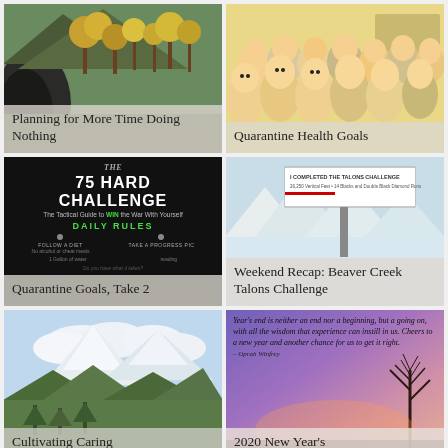[Figure (photo): Mountain landscape with autumn foliage and cave/rock formation]
Planning for More Time Doing Nothing
[Figure (illustration): Animated cartoon characters (Family Guy style) group photo]
Quarantine Health Goals
[Figure (photo): 75 Hard Challenge book cover with daily rules]
Quarantine Goals, Take 2
[Figure (photo): Billboard sign reading I COMPLETED THE TALONS CHALLENGE at Beaver Creek ski resort]
Weekend Recap: Beaver Creek Talons Challenge
[Figure (photo): Mountain valley with snow-capped peaks and forest]
Cultivating Caring
[Figure (photo): Inspirational quote on purple/sunset background with tree silhouette]
2020 New Year's